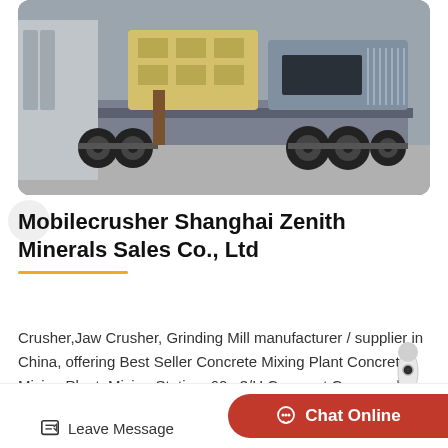[Figure (photo): Mobile crusher machine / heavy equipment on a truck trailer, photographed in an industrial yard. The machine features a large yellow hopper on a grey chassis with multiple large tires.]
Mobilecrusher Shanghai Zenith Minerals Sales Co., Ltd
Crusher,Jaw Crusher, Grinding Mill manufacturer / supplier in China, offering Best Seller Concrete Mixing Plant Concrete Mixing Plant, Mixing Station, 60m3/H Compact Commercial...
Leave Message
Chat Online